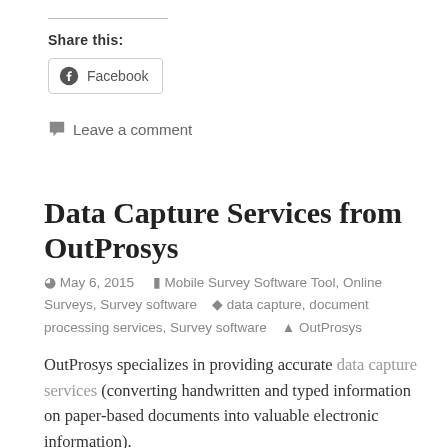Share this:
Facebook
Leave a comment
Data Capture Services from OutProsys
May 6, 2015   Mobile Survey Software Tool, Online Surveys, Survey software   data capture, document processing services, Survey software   OutProsys
OutProsys specializes in providing accurate data capture services (converting handwritten and typed information on paper-based documents into valuable electronic information).